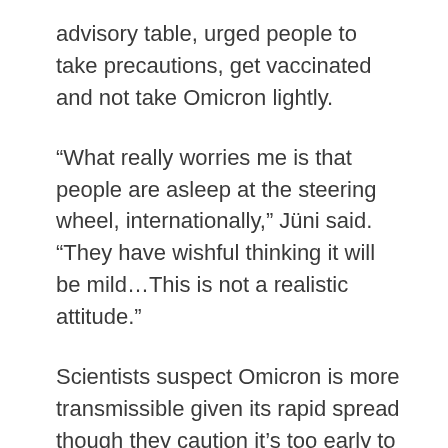advisory table, urged people to take precautions, get vaccinated and not take Omicron lightly.
“What really worries me is that people are asleep at the steering wheel, internationally,” Jüni said. “They have wishful thinking it will be mild…This is not a realistic attitude.”
Scientists suspect Omicron is more transmissible given its rapid spread though they caution it’s too early to draw definitive conclusions about the severity of the disease it causes.
‘MASSIVE VULNERABILITY’
There is “massive vulnerability” in Canada’s healthcare systems, according to Toronto infectious disease doctor